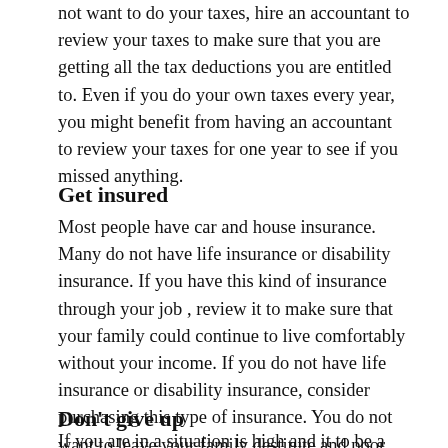not want to do your taxes, hire an accountant to review your taxes to make sure that you are getting all the tax deductions you are entitled to. Even if you do your own taxes every year, you might benefit from having an accountant to review your taxes for one year to see if you missed anything.
Get insured
Most people have car and house insurance. Many do not have life insurance or disability insurance. If you have this kind of insurance through your job , review it to make sure that your family could continue to live comfortably without your income. If you do not have life insurance or disability insurance, consider purchasing this type of insurance. You do not want to leave your family destitute and poor.
Don't give up
If you are in a situation is high and it to be a long road to a